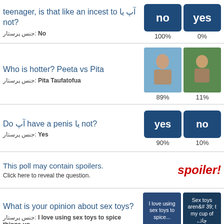teenager, is that like an incest to آپ یا not? جنس پرستار: No | 100% / 0%
Who is hotter? Peeta vs Pita | جنس پرستار: Pita Taufatofua | 89% / 11%
Do آپ have a penis یا not? | جنس پرستار: Yes | 90% / 10%
This poll may contain spoilers. Click here to reveal the question. spoiler!
What is your opinion about sex toys? | جنس پرستار: I love using sex toys to spice things up | 71% / 14%